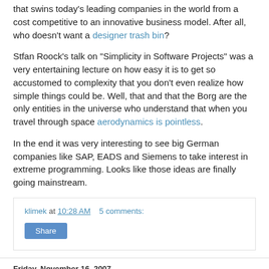that swins today's leading companies in the world from a cost competitive to an innovative business model. After all, who doesn't want a designer trash bin?
Stfan Roock's talk on "Simplicity in Software Projects" was a very entertaining lecture on how easy it is to get so accustomed to complexity that you don't even realize how simple things could be. Well, that and that the Borg are the only entities in the universe who understand that when you travel through space aerodynamics is pointless.
In the end it was very interesting to see big German companies like SAP, EADS and Siemens to take interest in extreme programming. Looks like those ideas are finally going mainstream.
klimek at 10:28 AM    5 comments:
Share
Friday, November 16, 2007
Does "Test After" Work For You?